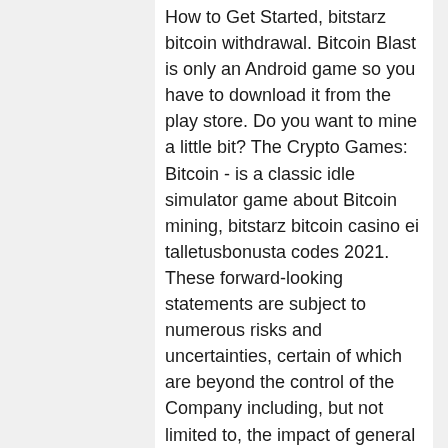How to Get Started, bitstarz bitcoin withdrawal. Bitcoin Blast is only an Android game so you have to download it from the play store. Do you want to mine a little bit? The Crypto Games: Bitcoin - is a classic idle simulator game about Bitcoin mining, bitstarz bitcoin casino ei talletusbonusta codes 2021. These forward-looking statements are subject to numerous risks and uncertainties, certain of which are beyond the control of the Company including, but not limited to, the impact of general economic conditions, industry conditions and dependence upon regulatory approvals. Readers are cautioned that the assumptions used in the preparation of such information, although considered reasonable at the time of preparation, may prove to be imprecise and, as such, undue reliance should not be placed on forward-looking statements, bitstarz bitcoin casino ingen insättningsbonus codes 2021. These